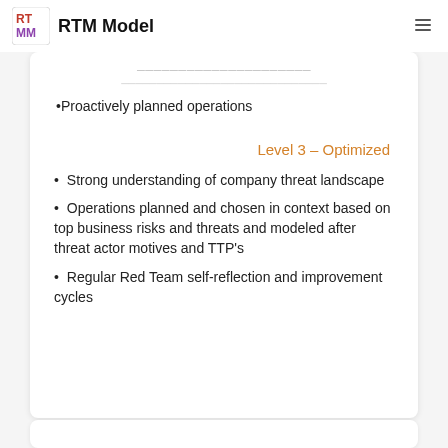RTM Model
Proactively planned operations
Level 3 – Optimized
Strong understanding of company threat landscape
Operations planned and chosen in context based on top business risks and threats and modeled after threat actor motives and TTP's
Regular Red Team self-reflection and improvement cycles